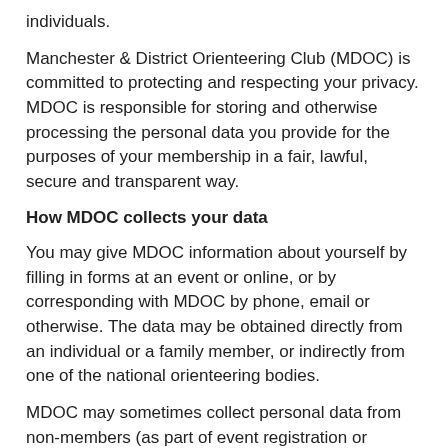individuals.
Manchester & District Orienteering Club (MDOC) is committed to protecting and respecting your privacy. MDOC is responsible for storing and otherwise processing the personal data you provide for the purposes of your membership in a fair, lawful, secure and transparent way.
How MDOC collects your data
You may give MDOC information about yourself by filling in forms at an event or online, or by corresponding with MDOC by phone, email or otherwise. The data may be obtained directly from an individual or a family member, or indirectly from one of the national orienteering bodies.
MDOC may sometimes collect personal data from non-members (as part of event registration or administration, for example).
The MDOC website does not use cookies.
The data held
MDOC and its officials may hold some or all of the following